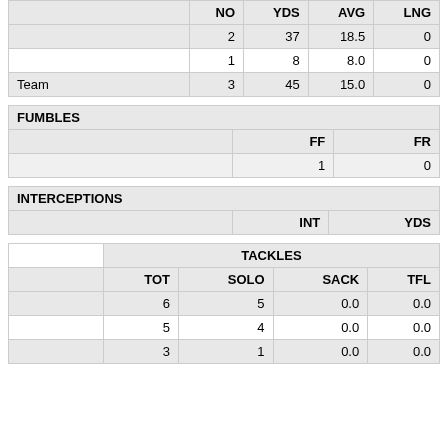|  | NO | YDS | AVG | LNG |
| --- | --- | --- | --- | --- |
|  | 2 | 37 | 18.5 | 0 |
|  | 1 | 8 | 8.0 | 0 |
| Team | 3 | 45 | 15.0 | 0 |
| FUMBLES |  |  |
| --- | --- | --- |
|  | FF | FR |
|  | 1 | 0 |
| INTERCEPTIONS |  |  |
| --- | --- | --- |
|  | INT | YDS |
|  | TACKLES |  |  |  |
| --- | --- | --- | --- | --- |
|  | TOT | SOLO | SACK | TFL |
|  | 6 | 5 | 0.0 | 0.0 |
|  | 5 | 4 | 0.0 | 0.0 |
|  | 3 | 1 | 0.0 | 0.0 |